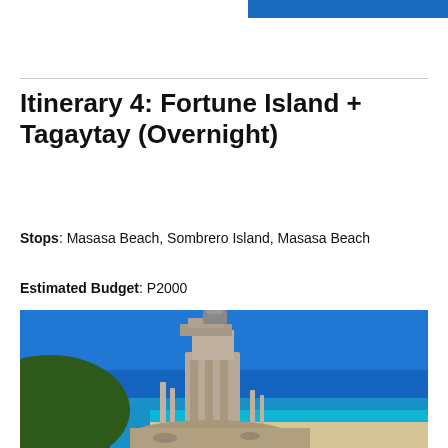Itinerary 4: Fortune Island + Tagaytay (Overnight)
Stops: Masasa Beach, Sombrero Island, Masasa Beach
Estimated Budget: P2000
[Figure (photo): Ruins of Greek-style columns on Fortune Island with blue sky and sea in background]